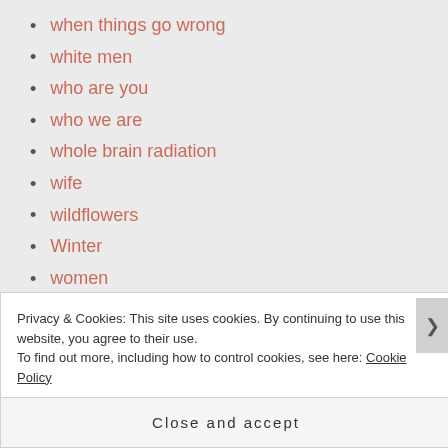when things go wrong
white men
who are you
who we are
whole brain radiation
wife
wildflowers
Winter
women
wonder
word meaning
words
Privacy & Cookies: This site uses cookies. By continuing to use this website, you agree to their use.
To find out more, including how to control cookies, see here: Cookie Policy
Close and accept